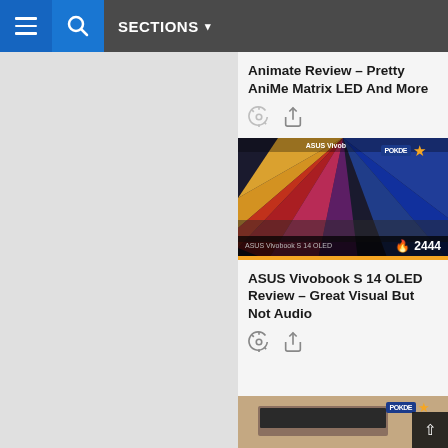≡  🔍  SECTIONS ▾
Animate Review – Pretty AniMe Matrix LED And More
[Figure (screenshot): ASUS Vivobook S 14 OLED laptop review card image with colorful display and keyboard visible, showing POKDE logo badge with star, label 'ASUS Vivobook S 14 OLED', and view count of 2444]
ASUS Vivobook S 14 OLED Review – Great Visual But Not Audio
[Figure (photo): Partial image of another laptop/device at the bottom of the page, with POKDE logo and orange star visible]